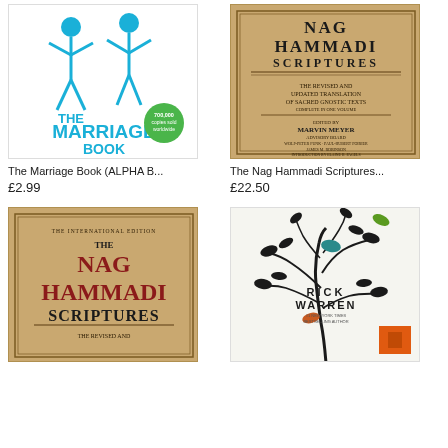[Figure (illustration): Book cover: The Marriage Book (ALPHA B...) - white background with cyan/blue illustrated figures of people, large cyan text 'THE MARRIAGE BOOK', green starburst badge '700,000 copies sold worldwide']
The Marriage Book (ALPHA B...
£2.99
[Figure (illustration): Book cover: The Nag Hammadi Scriptures - tan/brown parchment background, text 'THE REVISED AND UPDATED TRANSLATION OF SACRED GNOSTIC TEXTS COMPLETE IN ONE VOLUME, EDITED BY MARVIN MEYER, ADVISORY BOARD WOLF-PETER FUNK · PAUL-HUBERT POIRIER JAMES M. ROBINSON, INTRODUCTION BY ELAINE H. PAGELS']
The Nag Hammadi Scriptures...
£22.50
[Figure (illustration): Book cover: The Nag Hammadi Scriptures (International Edition) - tan parchment background, 'THE INTERNATIONAL EDITION THE NAG HAMMADI SCRIPTURES THE REVISED AND...' in dark red and black serif text]
[Figure (illustration): Book cover: Rick Warren book - white background with black illustrated tree/plant branches and leaves, teal and orange leaf accents, 'RICK WARREN #1 New York Times Bestselling Author' text, orange rectangle element]